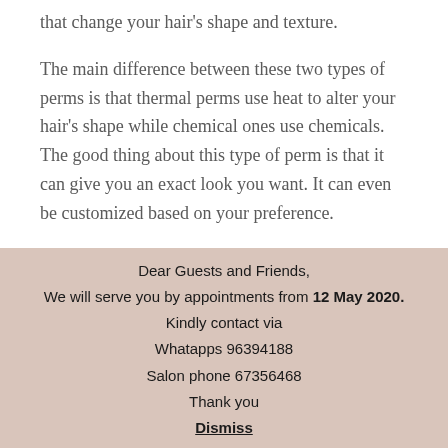that change your hair's shape and texture.
The main difference between these two types of perms is that thermal perms use heat to alter your hair's shape while chemical ones use chemicals. The good thing about this type of perm is that it can give you an exact look you want. It can even be customized based on your preference.
This means that if you want tight curls, then this will
Dear Guests and Friends,
We will serve you by appointments from 12 May 2020.
Kindly contact via
Whatapps 96394188
Salon phone 67356468
Thank you
Dismiss